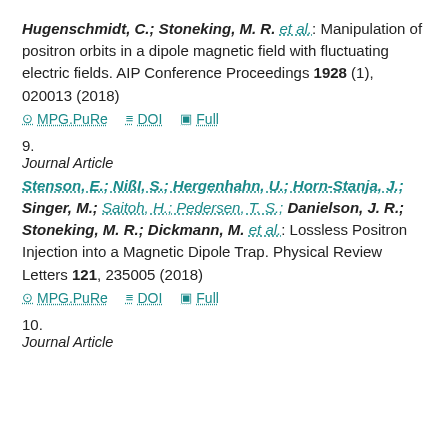Hugenschmidt, C.; Stoneking, M. R. et al.: Manipulation of positron orbits in a dipole magnetic field with fluctuating electric fields. AIP Conference Proceedings 1928 (1), 020013 (2018)
MPG.PuRe   DOI   Full
9.
Journal Article
Stenson, E.; Nißl, S.; Hergenhahn, U.; Horn-Stanja, J.; Singer, M.; Saitoh, H.; Pedersen, T. S.; Danielson, J. R.; Stoneking, M. R.; Dickmann, M. et al.: Lossless Positron Injection into a Magnetic Dipole Trap. Physical Review Letters 121, 235005 (2018)
MPG.PuRe   DOI   Full
10.
Journal Article